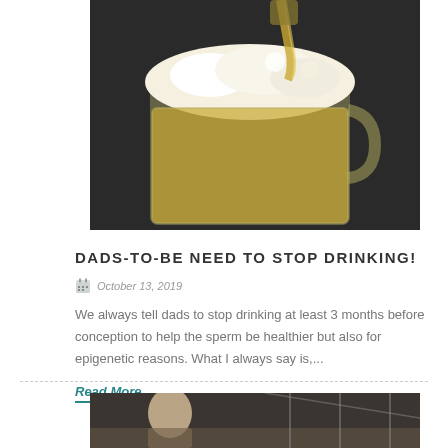[Figure (photo): Beer being poured into a glass mug, creating foam, on a dark background]
DADS-TO-BE NEED TO STOP DRINKING!
October 13, 2019
We always tell dads to stop drinking at least 3 months before conception to help the sperm be healthier but also for epigenetic reasons. What I always say is,...
Read More
[Figure (photo): Partial view of people at a table in what appears to be a restaurant or bar setting]